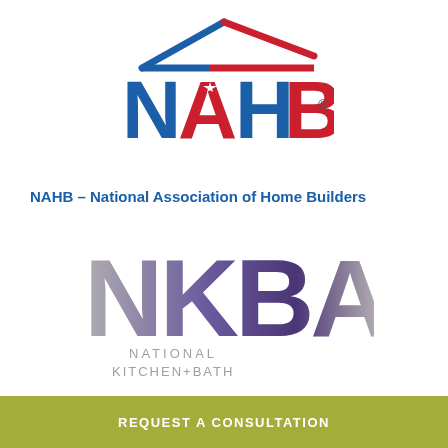[Figure (logo): NAHB National Association of Home Builders logo — house outline with red roof line, bold 'NAHB' text in blue and red with a white star, and registered trademark symbol]
NAHB – National Association of Home Builders
[Figure (logo): NKBA National Kitchen + Bath Association logo — large stylized letters N, K, B, A in silver-to-purple gradient, with 'NATIONAL KITCHEN+BATH' text below in gray]
REQUEST A CONSULTATION